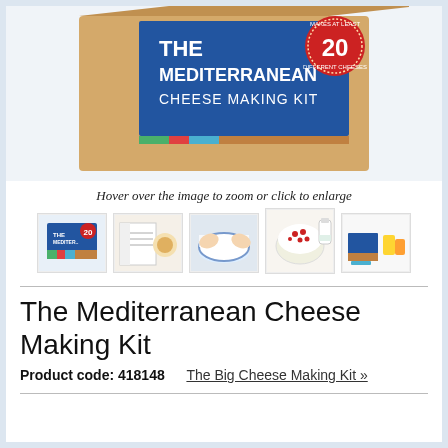[Figure (photo): A partial view of The Mediterranean Cheese Making Kit box, showing the front label with blue background, product title, and a red circular badge with the number 20. The box has coloured stripes (green, red, blue) and a wood-grain background.]
Hover over the image to zoom or click to enlarge
[Figure (photo): Row of five thumbnail images: (1) The Mediterranean Cheese Making Kit box front view, (2) instruction booklet and cheese, (3) hands working with white cheese in blue-striped bowl, (4) a round white cheese with red pepper topping, (5) the kit box with accessories and glasses.]
The Mediterranean Cheese Making Kit
Product code: 418148   The Big Cheese Making Kit »